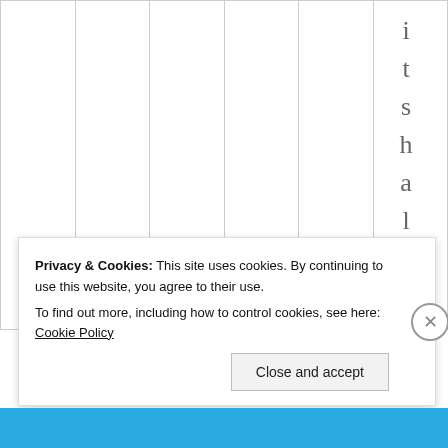[Figure (other): Background grid table with vertical text letters spelling 'itshalleg' in the right column]
Privacy & Cookies: This site uses cookies. By continuing to use this website, you agree to their use.
To find out more, including how to control cookies, see here: Cookie Policy
Close and accept